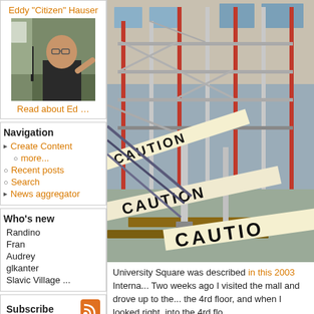Eddy "Citizen" Hauser
[Figure (photo): Photo of Eddy Hauser speaking at a podium, wearing glasses and a dark shirt]
Read about Ed …
Navigation
▸ Create Content
○ more...
○ Recent posts
○ Search
▸ News aggregator
Who's new
Randino
Fran
Audrey
glkanter
Slavic Village ...
Subscribe
[Figure (photo): Construction site photo showing scaffolding and caution tape with CAUTION text repeated]
University Square was described in this 2003 Interna... Two weeks ago I visited the mall and drove up to the... the 4rd floor, and when I looked right, into the 4rd flo...